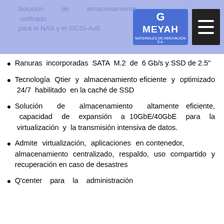[Figure (logo): Grupo Meyah logo with blue background and white text, alongside a dark hamburger menu button]
Solución de almacenamiento unificado para el NAS y el iSCSI-AoE
Ranuras incorporadas SATA M.2 de 6 Gb/s y SSD de 2.5"
Tecnología Qtier y almacenamiento eficiente y optimizado 24/7 habilitado en la caché de SSD
Solución de almacenamiento altamente eficiente, capacidad de expansión a 10GbE/40GbE para la virtualización y la transmisión intensiva de datos.
Admite virtualización, aplicaciones en contenedor, almacenamiento centralizado, respaldo, uso compartido y recuperación en caso de desastres
Q'center para la administración centralizada